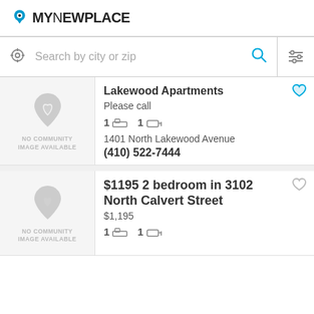[Figure (logo): MyNewPlace logo with location pin icon]
Search by city or zip
Lakewood Apartments
Please call
1 bed 1 bath
1401 North Lakewood Avenue
(410) 522-7444
$1195 2 bedroom in 3102 North Calvert Street
$1,195
1 bed 1 bath
3102 North Calvert Street